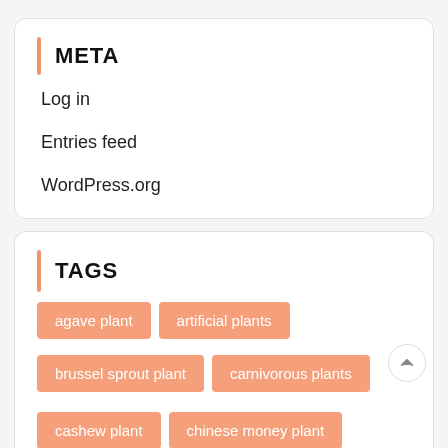META
Log in
Entries feed
WordPress.org
TAGS
agave plant
artificial plants
brussel sprout plant
carnivorous plants
cashew plant
chinese money plant